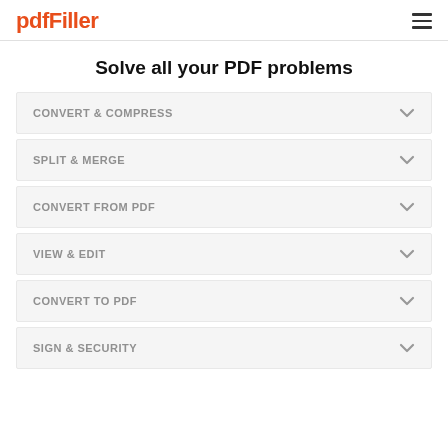pdfFiller
Solve all your PDF problems
CONVERT & COMPRESS
SPLIT & MERGE
CONVERT FROM PDF
VIEW & EDIT
CONVERT TO PDF
SIGN & SECURITY